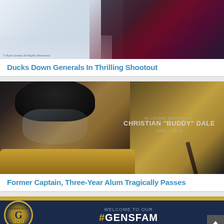[Figure (photo): Hockey players on ice rink, partially visible at top of page]
Ducks Down Generals In Thrilling Shootout
[Figure (photo): Hockey player in gold jersey and black helmet with face shield, memorial overlay text reading: IN LOVING MEMORY OF CHRISTIAN "BUDDY" DALE 1996 - 2018]
Former Captain, Three-Year Alum Tragically Passes
[Figure (other): Generals hockey team banner: WELCOME TO OUR #GENSFAM with team logo]